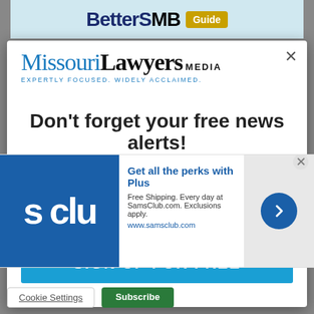[Figure (screenshot): BetterSMB Guide advertisement banner at the top of the page]
[Figure (logo): Missouri Lawyers Media logo with tagline EXPERTLY FOCUSED. WIDELY ACCLAIMED.]
Don't forget your free news alerts!
Get the latest legal news, verdicts &
Enter your email here...
SIGN UP FOR FREE
[Figure (screenshot): Sam's Club advertisement overlay: Get all the perks with Plus. Free Shipping. Every day at SamsClub.com. Exclusions apply. www.samsclub.com]
Cookie Settings
Subscribe